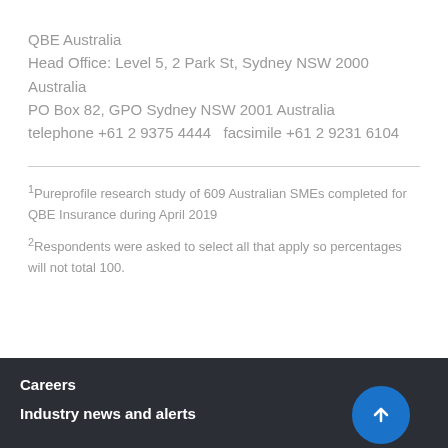QBE Australia
Head Office: Level 5, 2 Park St, Sydney NSW 2000 Australia
PO Box 82, GPO Sydney NSW 2001 Australia
telephone +61 2 9375 4444   facsimile +61 2 9231 6104
1Pureprofile research study of 609 Australian SMEs completed for QBE Insurance during April 2019
2Respondents were asked to select all that apply so percentages will not total 100.
Careers
Industry news and alerts